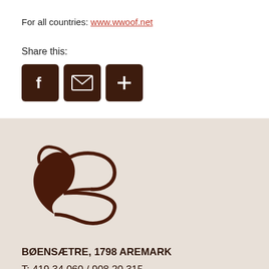For all countries: www.wwoof.net
Share this:
[Figure (other): Social share buttons: Facebook, Email, More]
[Figure (logo): Boensetre decorative B logo in dark brown]
BØENSÆTRE, 1798 AREMARK
T: 419 34 060 / 908 20 315
M: post@boensetre.no